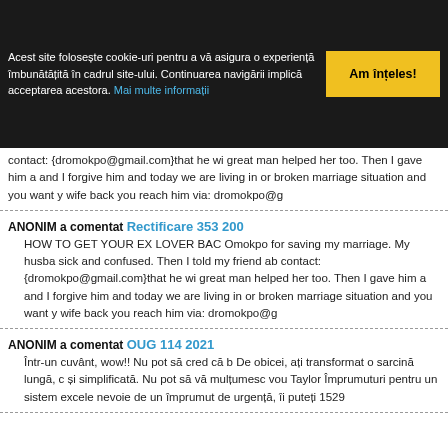Acest site folosește cookie-uri pentru a vă asigura o experiență îmbunătățită în cadrul site-ului. Continuarea navigării implică acceptarea acestora. Mai multe informații
Am înțeles!
contact: {dromokpo@gmail.com}that he wi great man helped her too. Then I gave him a and I forgive him and today we are living in or broken marriage situation and you want y wife back you reach him via: dromokpo@g
ANONIM a comentat Rectificare 353 200
HOW TO GET YOUR EX LOVER BAC Omokpo for saving my marriage. My husba sick and confused. Then I told my friend ab contact: {dromokpo@gmail.com}that he wi great man helped her too. Then I gave him a and I forgive him and today we are living in or broken marriage situation and you want y wife back you reach him via: dromokpo@g
ANONIM a comentat OUG 114 2021
Într-un cuvânt, wow!! Nu pot să cred că b De obicei, ați transformat o sarcină lungă, c și simplificată. Nu pot să vă mulțumesc vou Taylor Împrumuturi pentru un sistem excele nevoie de un împrumut de urgență, îi puteți 1529